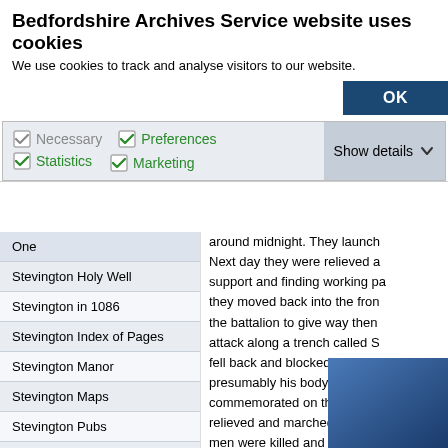Bedfordshire Archives Service website uses cookies
We use cookies to track and analyse visitors to our website.
OK
Necessary  Preferences  Statistics  Marketing  Show details
One
Stevington Holy Well
Stevington in 1086
Stevington Index of Pages
Stevington Manor
Stevington Maps
Stevington Pubs
Stevington Registration and Early References
Stevington School 1864-1902
Stevington School 1903-1946
around midnight. They launch
Next day they were relieved a
support and finding working pa
they moved back into the fron
the battalion to give way then
attack along a trench called S
fell back and blocked the tren
presumably his body lay beyo
commemorated on the Loos M
relieved and marched back to
men were killed and 40 declar
[Figure (photo): Blue gradient rectangular image block]